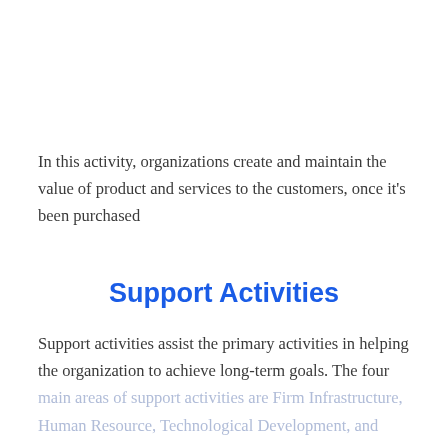In this activity, organizations create and maintain the value of product and services to the customers, once it's been purchased
Support Activities
Support activities assist the primary activities in helping the organization to achieve long-term goals. The four main areas of support activities are Firm Infrastructure, Human Resource, Technological Development, and